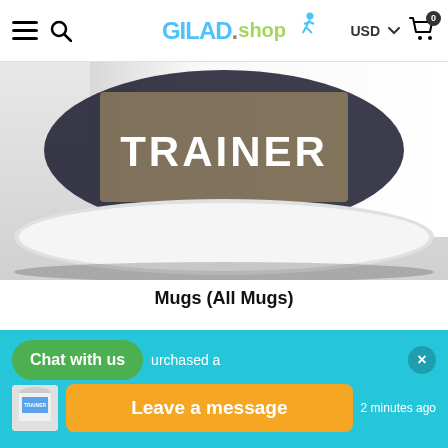GILAD.shop
[Figure (photo): Close-up bottom portion of a white ceramic mug with 'TRAINER' text visible on a dark circular graphic on the mug's surface, sitting on a white surface. Bottom portion of the mug shown.]
Mugs (All Mugs)
[Figure (photo): White ceramic mug showing 'My Workout Partners!' text on a blue sky background with clouds, partially visible from above.]
Chat with us
purchased a
Leave a message
2 minutes ago